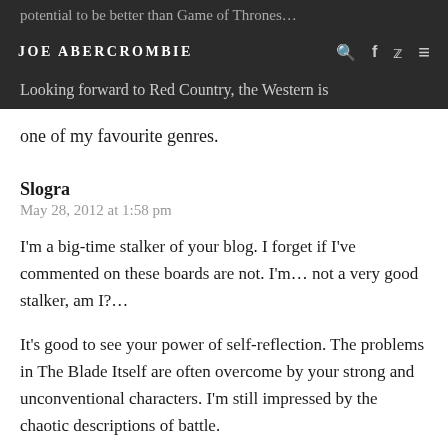JOE ABERCROMBIE
potential to be better than Game of Thrones… Looking forward to Red Country, the Western is one of my favourite genres.
Slogra
May 28, 2012 at 1:58 pm
I'm a big-time stalker of your blog. I forget if I've commented on these boards are not. I'm… not a very good stalker, am I?…
It's good to see your power of self-reflection. The problems in The Blade Itself are often overcome by your strong and unconventional characters. I'm still impressed by the chaotic descriptions of battle.
I recently gave a friend your book series, and he's on Heroes right now. But he got through Blade the